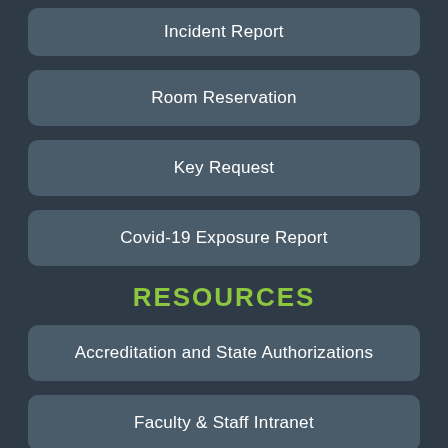Incident Report
Room Reservation
Key Request
Covid-19 Exposure Report
RESOURCES
Accreditation and State Authorizations
Faculty & Staff Intranet